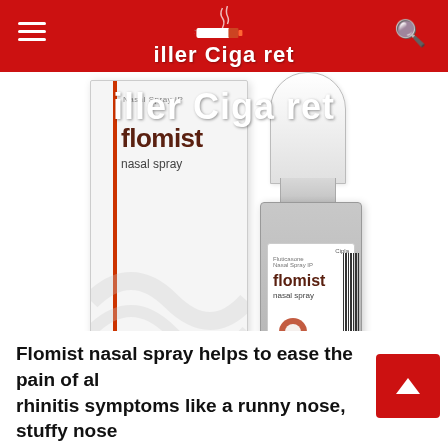Killer Cigarette
[Figure (photo): Flomist Nasal Spray IP product photo showing the cardboard box packaging and the 10ml nasal spray bottle made by Cipla. The box displays 'flomist nasal spray' branding and the bottle shows the same branding with 'flomist nasal spray' label.]
Flomist nasal spray helps to ease the pain of al g rhinitis symptoms like a runny nose, stuffy nose